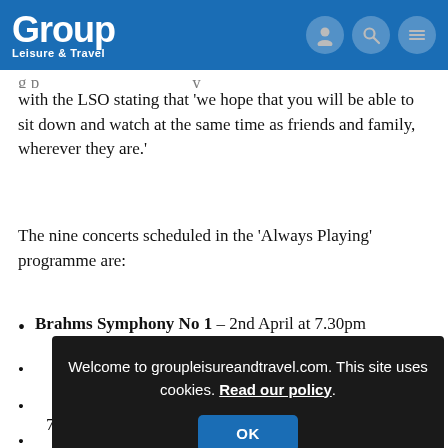Group Leisure & Travel
with the LSO stating that 'we hope that you will be able to sit down and watch at the same time as friends and family, wherever they are.'
The nine concerts scheduled in the 'Always Playing' programme are:
Brahms Symphony No 1 - 2nd April at 7.30pm
[Figure (screenshot): Cookie consent overlay on groupleisureandtravel.com website. Dark background with text: 'Welcome to groupleisureandtravel.com. This site uses cookies. Read our policy.' and an OK button.]
7pm